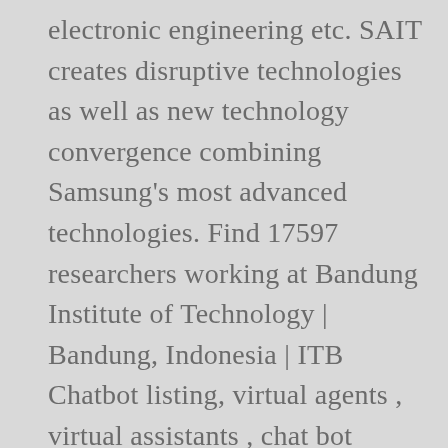electronic engineering etc. SAIT creates disruptive technologies as well as new technology convergence combining Samsung's most advanced technologies. Find 17597 researchers working at Bandung Institute of Technology | Bandung, Indonesia | ITB Chatbot listing, virtual agents , virtual assistants , chat bot directory, conversational agents , virtual human news, chatterbot list Vanung University is medium in scale, teaching no more than 15 thousand students at a time. Industry Experienced Tutors and 1 on 1 Instruction. You can help Wikipedia by expanding it. Wikimedia Commons has media related to Nanya Institute of Technology This